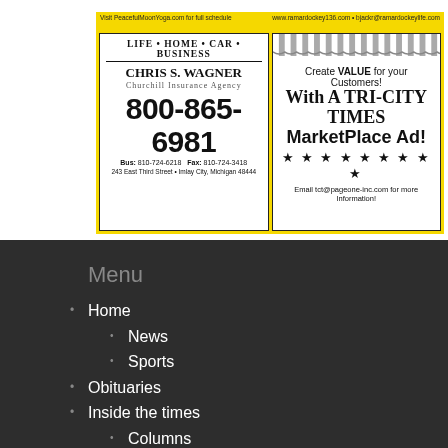[Figure (advertisement): Advertisement for Churchill Insurance Agency - Chris S. Wagner. Life, Home, Car, Business. Phone 800-865-6981. Bus: 810-724-6218, Fax: 810-724-3418. 243 East Third Street, Imlay City, Michigan 48444.]
[Figure (advertisement): Advertisement: Create VALUE for your Customers! With A TRI-CITY TIMES MarketPlace Ad! Stars row. Email tct@pageone-inc.com for more information!]
Menu
Home
News
Sports
Obituaries
Inside the times
Columns